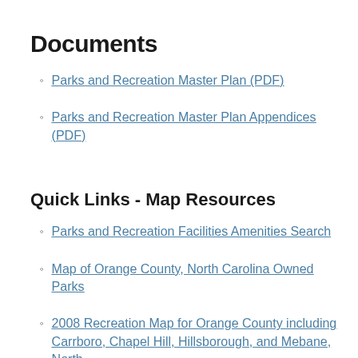Documents
Parks and Recreation Master Plan (PDF)
Parks and Recreation Master Plan Appendices (PDF)
Quick Links - Map Resources
Parks and Recreation Facilities Amenities Search
Map of Orange County, North Carolina Owned Parks
2008 Recreation Map for Orange County including Carrboro, Chapel Hill, Hillsborough, and Mebane, North